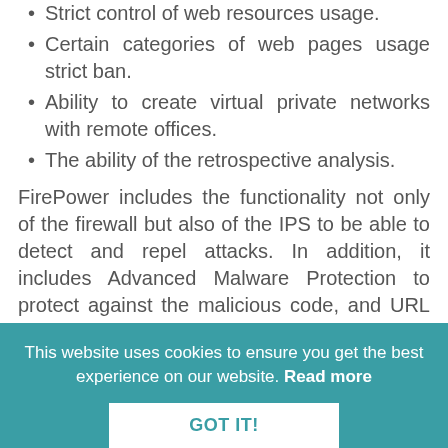Strict control of web resources usage.
Certain categories of web pages usage strict ban.
Ability to create virtual private networks with remote offices.
The ability of the retrospective analysis.
FirePower includes the functionality not only of the firewall but also of the IPS to be able to detect and repel attacks. In addition, it includes Advanced Malware Protection to protect against the malicious code, and URL filtering to control access to the Internet and VPN.
Result: The incorporation of a single FirePower NGFW device allowed us to eliminate all the defects of the customer's perimeter protection, to track and block all unauthorized
This website uses cookies to ensure you get the best experience on our website. Read more GOT IT!